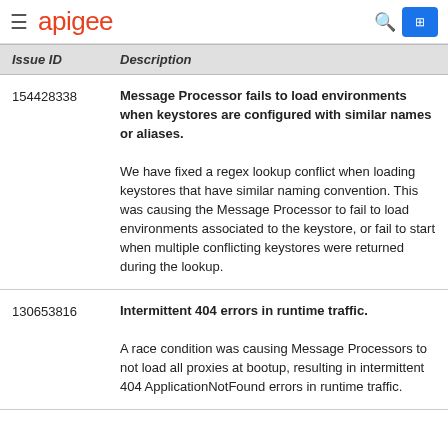apigee
| Issue ID | Description |
| --- | --- |
| 154428338 | Message Processor fails to load environments when keystores are configured with similar names or aliases.

We have fixed a regex lookup conflict when loading keystores that have similar naming convention. This was causing the Message Processor to fail to load environments associated to the keystore, or fail to start when multiple conflicting keystores were returned during the lookup. |
| 130653816 | Intermittent 404 errors in runtime traffic.

A race condition was causing Message Processors to not load all proxies at bootup, resulting in intermittent 404 ApplicationNotFound errors in runtime traffic. |